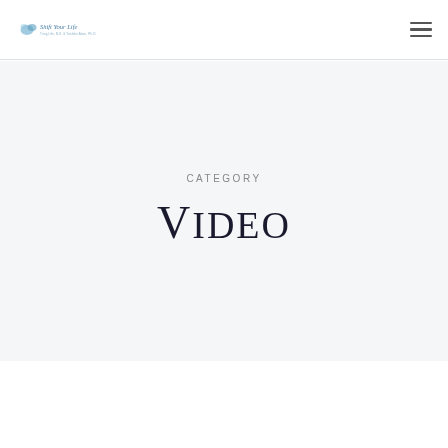Shift Your Life — navigation header with logo and hamburger menu
CATEGORY
Video